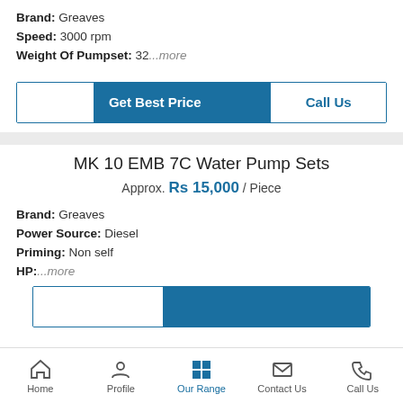Brand: Greaves
Speed: 3000 rpm
Weight Of Pumpset: 32...more
[Figure (screenshot): Two action buttons: 'Get Best Price' (blue) and 'Call Us' (white with blue text), side by side in a bordered row]
MK 10 EMB 7C Water Pump Sets
Approx. Rs 15,000 / Piece
Brand: Greaves
Power Source: Diesel
Priming: Non self
HP:...more
[Figure (screenshot): Partially visible action buttons row at bottom of product section]
Home | Profile | Our Range | Contact Us | Call Us